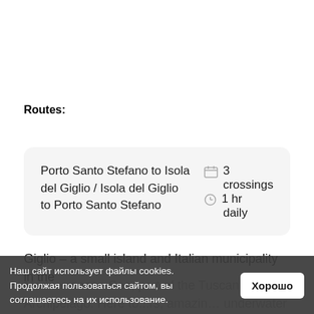Routes:
| Route | Crossings | Duration |
| --- | --- | --- |
| Porto Santo Stefano to Isola del Giglio / Isola del Giglio to Porto Santo Stefano | 3 crossings daily | 1 hr |
Giglio – a small island and Italian municipality in the Mediterranean Sea, part of the Tuscan Archipelago. Here to...rs, amazing... underwater flora and fauna, unusual beauty of the
Наш сайт использует файлы cookies. Продолжая пользоваться сайтом, вы соглашаетесь на их использование. Хорошо